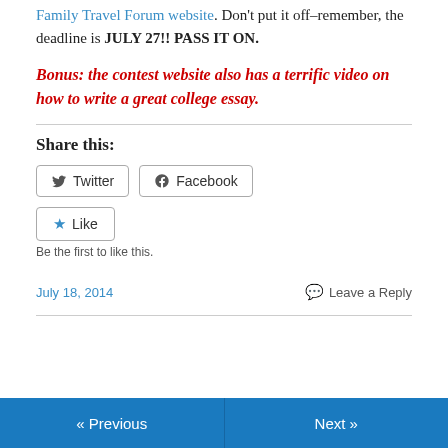Family Travel Forum website. Don't put it off–remember, the deadline is JULY 27!! PASS IT ON.
Bonus: the contest website also has a terrific video on how to write a great college essay.
Share this:
Twitter  Facebook
Like
Be the first to like this.
July 18, 2014    Leave a Reply
« Previous    Next »